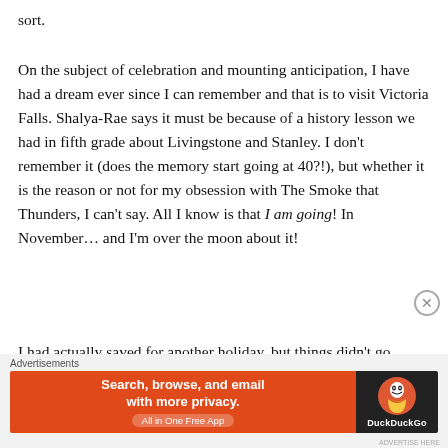sort.
On the subject of celebration and mounting anticipation, I have had a dream ever since I can remember and that is to visit Victoria Falls. Shalya-Rae says it must be because of a history lesson we had in fifth grade about Livingstone and Stanley. I don’t remember it (does the memory start going at 40?!), but whether it is the reason or not for my obsession with The Smoke that Thunders, I can’t say. All I know is that I am going! In November… and I’m over the moon about it!
I had actually saved for another holiday, but things didn’t go according to plan. Initially I was disappointed, but the
Advertisements
[Figure (other): DuckDuckGo advertisement banner: orange left panel with text 'Search, browse, and email with more privacy. All in One Free App' and dark right panel with DuckDuckGo logo and text 'DuckDuckGo']